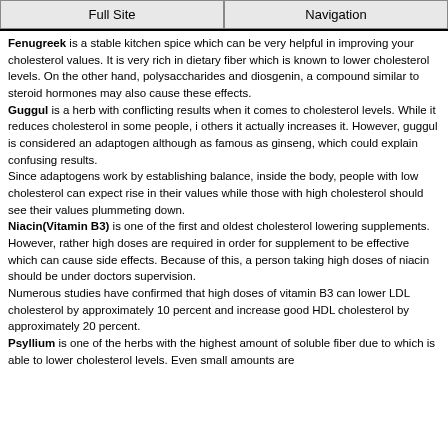Full Site | Navigation
Fenugreek is a stable kitchen spice which can be very helpful in improving your cholesterol values. It is very rich in dietary fiber which is known to lower cholesterol levels. On the other hand, polysaccharides and diosgenin, a compound similar to steroid hormones may also cause these effects.
Guggul is a herb with conflicting results when it comes to cholesterol levels. While it reduces cholesterol in some people, i others it actually increases it. However, guggul is considered an adaptogen although as famous as ginseng, which could explain confusing results.
Since adaptogens work by establishing balance, inside the body, people with low cholesterol can expect rise in their values while those with high cholesterol should see their values plummeting down.
Niacin(Vitamin B3) is one of the first and oldest cholesterol lowering supplements. However, rather high doses are required in order for supplement to be effective which can cause side effects. Because of this, a person taking high doses of niacin should be under doctors supervision.
Numerous studies have confirmed that high doses of vitamin B3 can lower LDL cholesterol by approximately 10 percent and increase good HDL cholesterol by approximately 20 percent.
Psyllium is one of the herbs with the highest amount of soluble fiber due to which is able to lower cholesterol levels. Even small amounts are